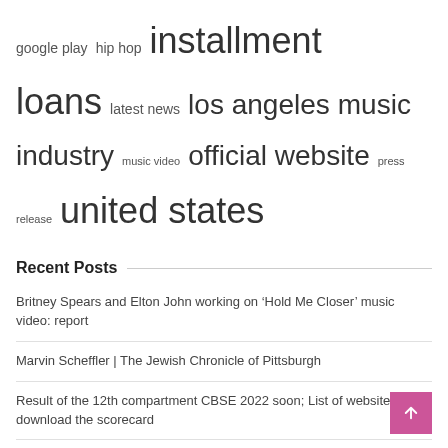google play  hip hop  installment loans  latest news  los angeles  music industry  music video  official website  press release  united states
Recent Posts
Britney Spears and Elton John working on ‘Hold Me Closer’ music video: report
Marvin Scheffler | The Jewish Chronicle of Pittsburgh
Result of the 12th compartment CBSE 2022 soon; List of websites to download the scorecard
Marching bands trade their scores for smartphone apps
Devo: Duty Now for the Future Album Review